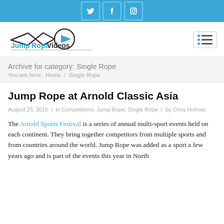Social icons: Twitter, Facebook, Instagram
[Figure (logo): Jump Rope Videos logo with rope graphic and play button icon]
Archive for category: Single Rope
You are here:  Home / Single Rope
Jump Rope at Arnold Classic Asia
August 25, 2016  /  in Competitions, Jump Rope, Single Rope  /  by Chris Holmes
The Arnold Sports Festival is a series of annual multi-sport events held on each continent. They bring together competitors from multiple sports and from countries around the world. Jump Rope was added as a sport a few years ago and is part of the events this year in North America, Europe, South America, and Asia.